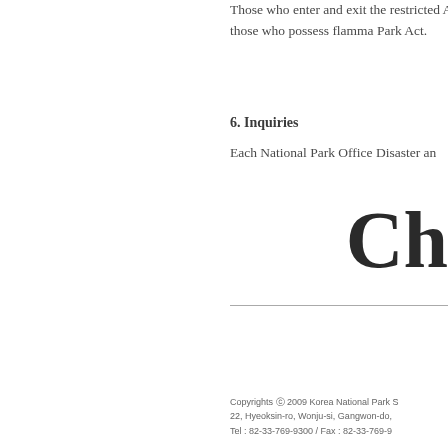Those who enter and exit the restricted Act, while those who possess flamma Park Act.
6. Inquiries
Each National Park Office Disaster an
Ch
Copyrights ⓒ 2009 Korea National Park S 22, Hyeoksin-ro, Wonju-si, Gangwon-do, Tel : 82-33-769-9300 / Fax : 82-33-769-9